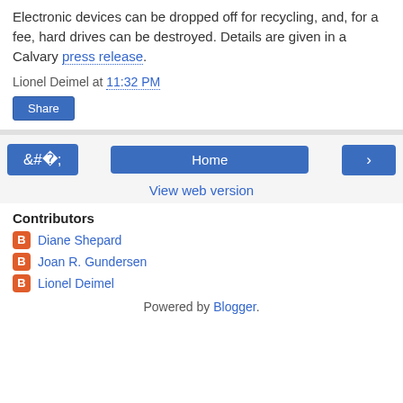Electronic devices can be dropped off for recycling, and, for a fee, hard drives can be destroyed. Details are given in a Calvary press release.
Lionel Deimel at 11:32 PM
Share
‹    Home    ›
View web version
Contributors
Diane Shepard
Joan R. Gundersen
Lionel Deimel
Powered by Blogger.